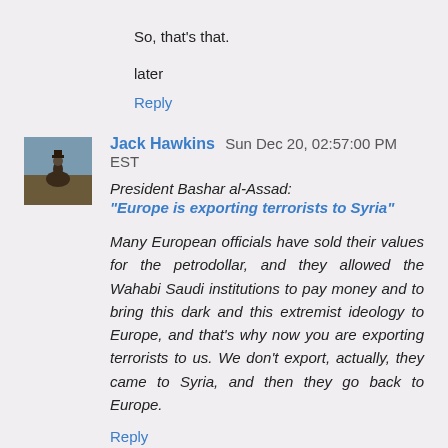So, that's that.
later
Reply
Jack Hawkins  Sun Dec 20, 02:57:00 PM EST
President Bashar al-Assad:
“Europe is exporting terrorists to Syria”
Many European officials have sold their values for the petrodollar, and they allowed the Wahabi Saudi institutions to pay money and to bring this dark and this extremist ideology to Europe, and that's why now you are exporting terrorists to us. We don't export, actually, they came to Syria, and then they go back to Europe.
Reply